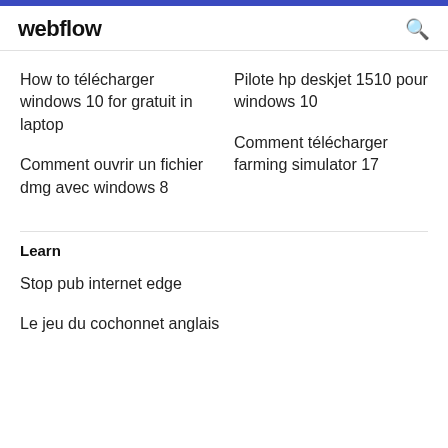webflow
How to télécharger windows 10 for gratuit in laptop
Pilote hp deskjet 1510 pour windows 10
Comment télécharger farming simulator 17
Comment ouvrir un fichier dmg avec windows 8
Learn
Stop pub internet edge
Le jeu du cochonnet anglais